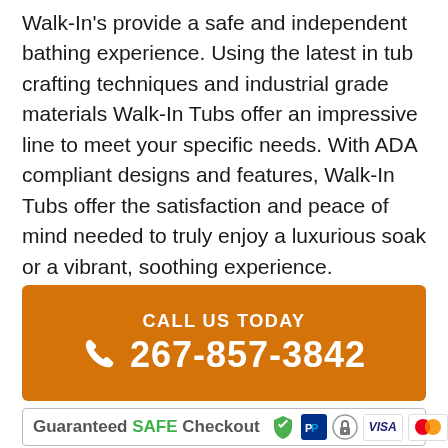Walk-In's provide a safe and independent bathing experience. Using the latest in tub crafting techniques and industrial grade materials Walk-In Tubs offer an impressive line to meet your specific needs. With ADA compliant designs and features, Walk-In Tubs offer the satisfaction and peace of mind needed to truly enjoy a luxurious soak or a vibrant, soothing experience.
[Figure (infographic): Orange call-to-action banner with phone icon, 'CALL US TODAY' text, and phone number 267-857-3842 in white on orange background]
[Figure (infographic): Guaranteed SAFE Checkout banner with payment icons including shield, PayPal, padlock, Visa, and Mastercard logos]